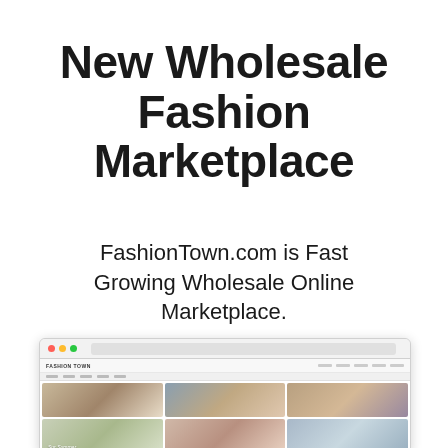New Wholesale Fashion Marketplace
FashionTown.com is Fast Growing Wholesale Online Marketplace.
[Figure (screenshot): Browser window screenshot of FashionTown.com website showing a fashion marketplace with a grid of fashion photography images including women in stylish clothing]